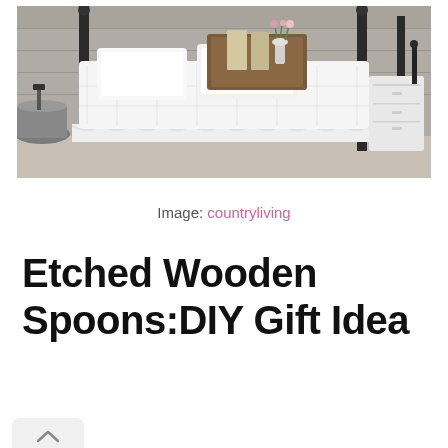[Figure (photo): A cottage-style bedroom with a white bed covered in white quilted bedding and a ruffled bed skirt. A wooden tray with a small vase of flowers sits on the bed. Dark wrought-iron bedposts are visible. A white nightstand is on the right. A large metal bucket or tub is on the left side. The background has a rustic wood plank wall.]
Image: countryliving
Etched Wooden Spoons:DIY Gift Idea